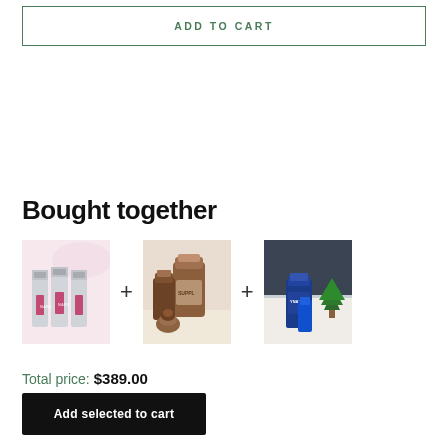ADD TO CART
Bought together
[Figure (photo): Three product images shown side by side with plus signs between them: skincare serums (pink background), supplement bottles with pinecone, and blue skincare products with Christmas tree]
Total price: $389.00
Add selected to cart